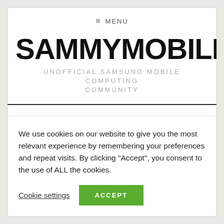☰ MENU
SAMMYMOBILE
UNOFFICIAL SAMSUNG MOBILE COMPUTING COMMUNITY
New season of Lost (possible spoilers inside!)
We use cookies on our website to give you the most relevant experience by remembering your preferences and repeat visits. By clicking "Accept", you consent to the use of ALL the cookies.
Cookie settings  ACCEPT